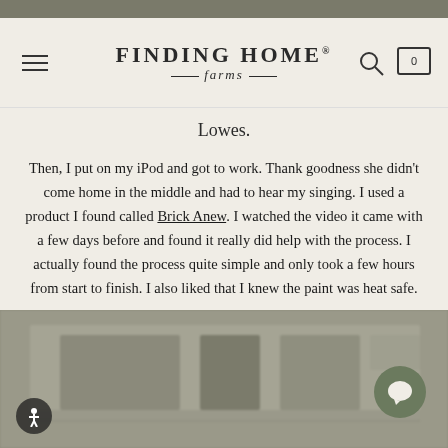FINDING HOME farms
Lowes.
Then, I put on my iPod and got to work. Thank goodness she didn't come home in the middle and had to hear my singing. I used a product I found called Brick Anew. I watched the video it came with a few days before and found it really did help with the process. I actually found the process quite simple and only took a few hours from start to finish. I also liked that I knew the paint was heat safe.
[Figure (photo): Blurred photo of a room interior, likely showing built-in shelving or cabinetry in muted tones.]